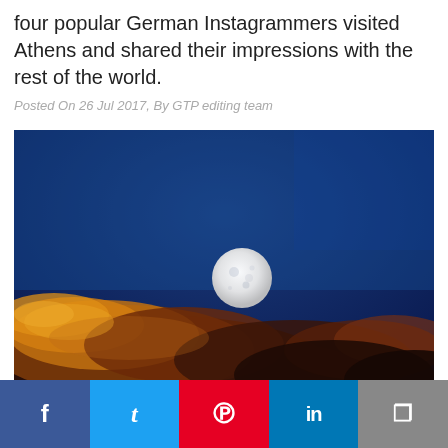four popular German Instagrammers visited Athens and shared their impressions with the rest of the world.
Posted On 26 Jul 2017, By GTP editing team
[Figure (photo): A night sky photo showing a bright full moon hovering above illuminated golden-orange clouds against a deep blue sky.]
August Full Moon Free Events at Sites
f  t  p  in  copy